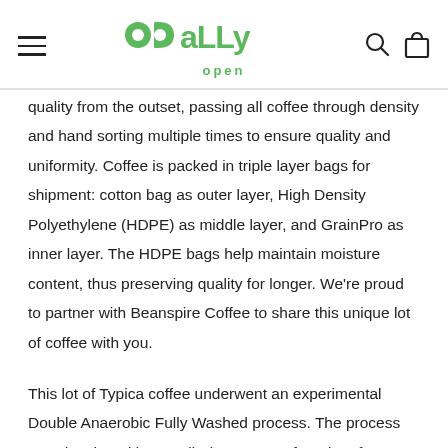ODD ALLY open
quality from the outset, passing all coffee through density and hand sorting multiple times to ensure quality and uniformity. Coffee is packed in triple layer bags for shipment: cotton bag as outer layer, High Density Polyethylene (HDPE) as middle layer, and GrainPro as inner layer. The HDPE bags help maintain moisture content, thus preserving quality for longer. We're proud to partner with Beanspire Coffee to share this unique lot of coffee with you.
This lot of Typica coffee underwent an experimental Double Anaerobic Fully Washed process. The process was developed by Fuadi Pitsuwan, co-founder of Beanspire